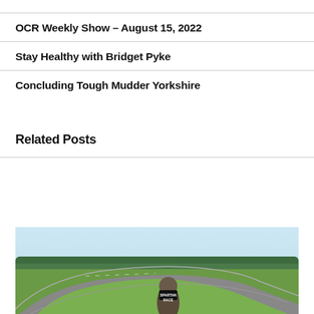OCR Weekly Show – August 15, 2022
Stay Healthy with Bridget Pyke
Concluding Tough Mudder Yorkshire
Related Posts
[Figure (photo): Outdoor racetrack or motor circuit with green infield and treeline in background. A person wearing a Spartan Race headband/helmet is visible in the foreground.]